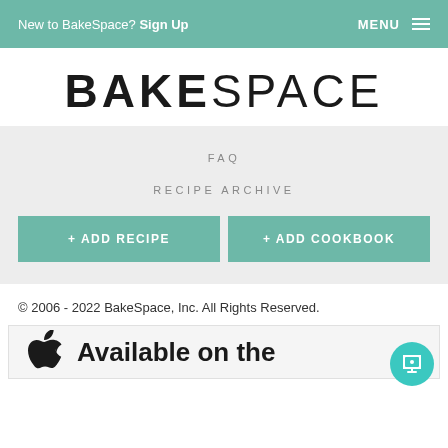New to BakeSpace? Sign Up   MENU
BAKESPACE
FAQ
RECIPE ARCHIVE
+ ADD RECIPE
+ ADD COOKBOOK
© 2006 - 2022 BakeSpace, Inc. All Rights Reserved.
[Figure (logo): Apple logo with 'Available on the' text for App Store badge]